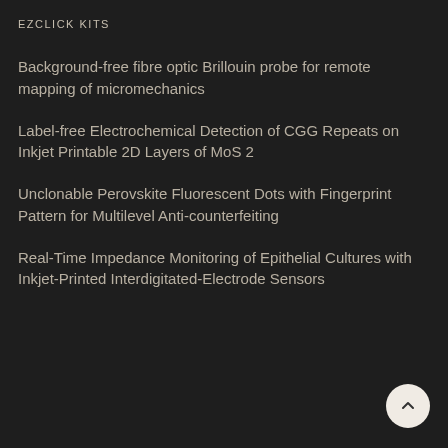EZCLICK KITS
Background-free fibre optic Brillouin probe for remote mapping of micromechanics
Label-free Electrochemical Detection of CGG Repeats on Inkjet Printable 2D Layers of MoS 2
Unclonable Perovskite Fluorescent Dots with Fingerprint Pattern for Multilevel Anti-counterfeiting
Real-Time Impedance Monitoring of Epithelial Cultures with Inkjet-Printed Interdigitated-Electrode Sensors